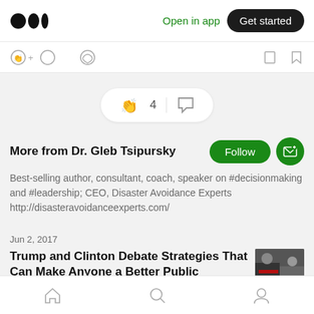Medium logo | Open in app | Get started
[Figure (screenshot): Action icons row with clap+, comment icons on left and bookmark, more icons on right]
[Figure (screenshot): Engagement pill showing clap icon, 4, divider, comment icon]
More from Dr. Gleb Tsipursky
Best-selling author, consultant, coach, speaker on #decisionmaking and #leadership; CEO, Disaster Avoidance Experts http://disasteravoidanceexperts.com/
Jun 2, 2017
Trump and Clinton Debate Strategies That Can Make Anyone a Better Public Speaker
Home | Search | Profile